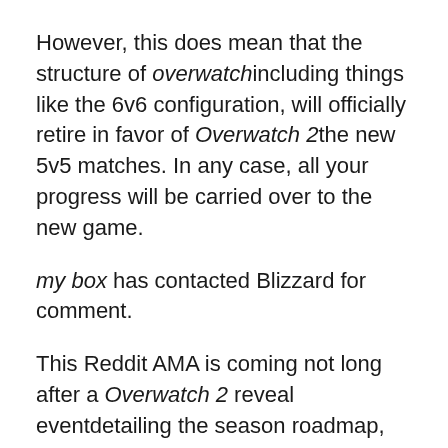However, this does mean that the structure of overwatchincluding things like the 6v6 configuration, will officially retire in favor of Overwatch 2the new 5v5 matches. In any case, all your progress will be carried over to the new game.
my box has contacted Blizzard for comment.
This Reddit AMA is coming not long after a Overwatch 2 reveal eventdetailing the season roadmap, clarified that there will be no loot boxes, and showed off the new tank hero Junker Queen† All this is surrounded by the ongoing legal problems Publisher Activision Blizzard can't escape.